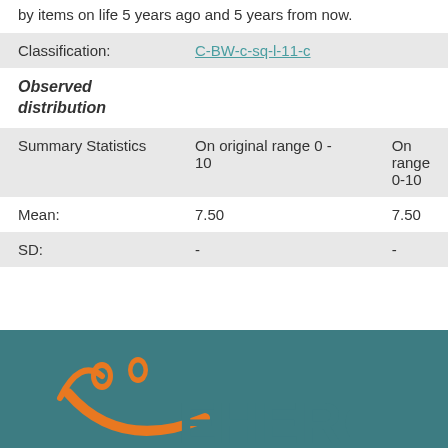by items on life 5 years ago and 5 years from now.
| Classification: | C-BW-c-sq-l-11-c |  |
| Observed distribution |  |  |
| Summary Statistics | On original range 0 - 10 | On range 0-10 |
| Mean: | 7.50 | 7.50 |
| SD: | - | - |
[Figure (logo): EHERO logo with orange smiley face on teal background]